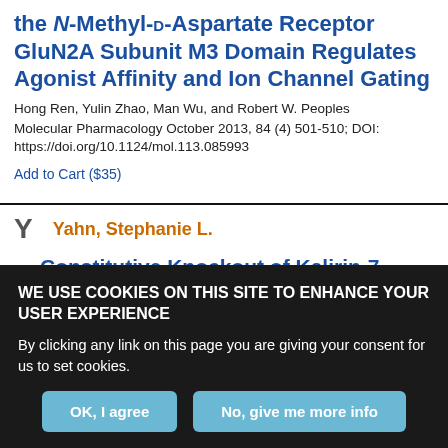the N-Methyl-D-Aspartate Receptor GluN2A Subunit M3 Domain Regulates Agonist Affinity and Ion Channel Gating
Hong Ren, Yulin Zhao, Man Wu, and Robert W. Peoples
Molecular Pharmacology October 2013, 84 (4) 501-510; DOI: https://doi.org/10.1124/mol.113.085993
Add to Cart ($35)
Y  Yahn, Stephanie L.
Constitutive Knockout of Kalirin-7
WE USE COOKIES ON THIS SITE TO ENHANCE YOUR USER EXPERIENCE
By clicking any link on this page you are giving your consent for us to set cookies.